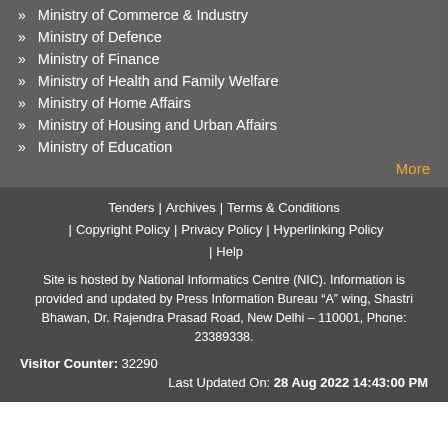Ministry of Commerce & Industry
Ministry of Defence
Ministry of Finance
Ministry of Health and Family Welfare
Ministry of Home Affairs
Ministry of Housing and Urban Affairs
Ministry of Education
More
Tenders | Archives | Terms & Conditions | Copyright Policy | Privacy Policy | Hyperlinking Policy | Help
Site is hosted by National Informatics Centre (NIC). Information is provided and updated by Press Information Bureau “A” wing, Shastri Bhawan, Dr. Rajendra Prasad Road, New Delhi – 110001, Phone: 23389338.
Visitor Counter: 32290
Last Updated On: 28 Aug 2022 14:43:00 PM